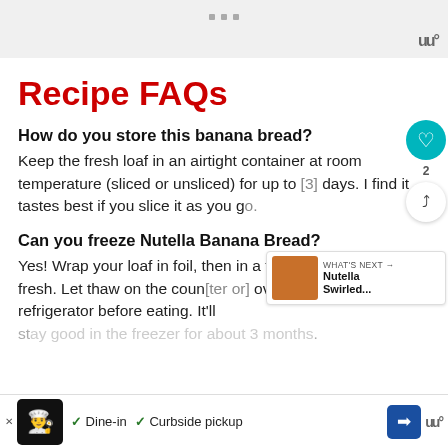[Figure (other): Gray advertisement banner at top with three gray square dots and a logo mark on the right]
Recipe FAQs
How do you store this banana bread?
Keep the fresh loaf in an airtight container at room temperature (sliced or unsliced) for up to [3] days. I find it tastes best if you slice it as you g[o].
Can you freeze Nutella Banana Bread?
Yes! Wrap your loaf in foil, then in a fre[ezer bag] to keep it fresh. Let thaw on the coun[ter or] overnight in the refrigerator before eating. It'll st[ay good in the freezer for about 3 months].
[Figure (other): Bottom advertisement bar with restaurant logo, dine-in and curbside pickup options, navigation icon, and Waze logo]